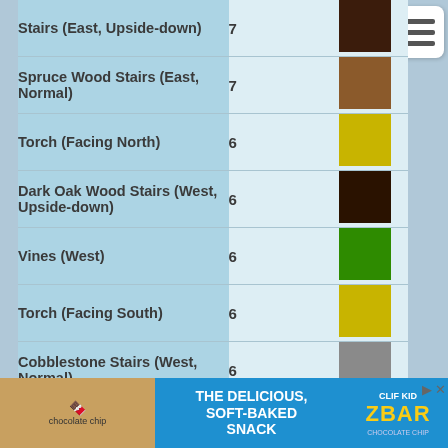| Block Name | Count | Color |
| --- | --- | --- |
| Stairs (East, Upside-down) | 7 | dark brown |
| Spruce Wood Stairs (East, Normal) | 7 | medium brown |
| Torch (Facing North) | 6 | yellow-green |
| Dark Oak Wood Stairs (West, Upside-down) | 6 | very dark brown |
| Vines (West) | 6 | green |
| Torch (Facing South) | 6 | yellow-green |
| Cobblestone Stairs (West, Normal) | 6 | gray |
| Spruce Wood Stairs (North, Normal) | 6 | medium brown |
| Ladder (facing...) | 6 | brown |
[Figure (other): Advertisement banner: 'THE DELICIOUS, SOFT-BAKED SNACK' with CLIF KID ZBAR branding]